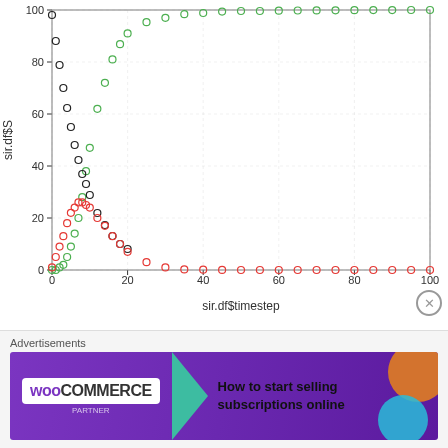[Figure (continuous-plot): SIR model simulation plot showing three curves over time. X-axis: sir.df$timestep (0 to 100). Y-axis: sir.df$S (0 to 100). Green open circles: S (Susceptible) curve starts near 0, rises steeply then plateaus near 100. Red open circles: R (Recovered) curve starts at 0, rises to ~25 peak around step 8, then decreases to near 0. Black open circles: I (Infected) curve starts ~98 at step 0, decreases rapidly.]
Advertisements
[Figure (infographic): WooCommerce advertisement banner: purple background with WooCommerce logo, green arrow shape, and text 'How to start selling subscriptions online' with orange and teal decorative shapes.]